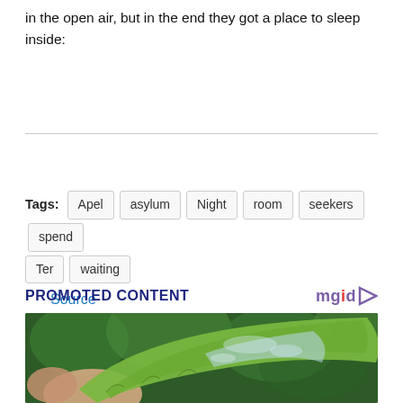in the open air, but in the end they got a place to sleep inside:
Source
Tags: Apel  asylum  Night  room  seekers  spend  Ter  waiting
PROMOTED CONTENT
[Figure (photo): Close-up photo of a hand holding a large green leaf, showing its wet underside with moisture droplets, against a blurred green background.]